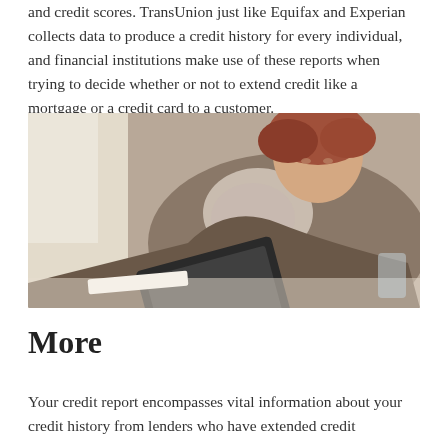and credit scores. TransUnion just like Equifax and Experian collects data to produce a credit history for every individual, and financial institutions make use of these reports when trying to decide whether or not to extend credit like a mortgage or a credit card to a customer.
[Figure (photo): A woman with red hair and a patterned scarf leaning over a tablet device, focused on the screen, sitting at a desk.]
More
Your credit report encompasses vital information about your credit history from lenders who have extended credit